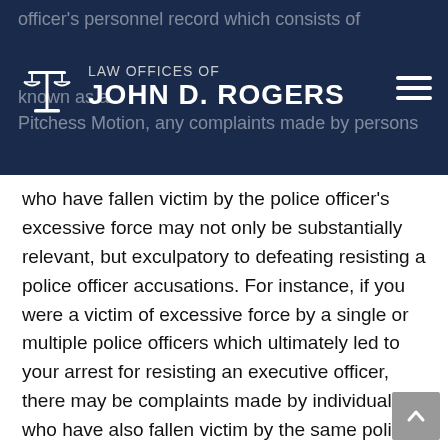LAW OFFICES OF JOHN D. ROGERS
officer's personnel record which consists of known as a Pitchess Motion, any complaints made by persons who have fallen victim by the police officer's excessive force may not only be substantially relevant, but exculpatory to defeating resisting a police officer accusations. For instance, if you were a victim of excessive force by a single or multiple police officers which ultimately led to your arrest for resisting an executive officer, there may be complaints made by individuals who have also fallen victim by the same police officer(s). This would show that the police officer(s) have a propensity to use excessive force against individuals arrested. The Law Offices of John D. Rogers will contact these individuals for their